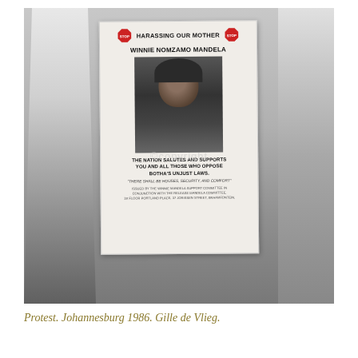[Figure (photo): Black and white photograph of a protest in Johannesburg 1986. A person holds up a placard reading 'STOP HARASSING OUR MOTHER / WINNIE NOMZAMO MANDELA' with a portrait photo of Winnie Mandela on the placard, and text 'THE NATION SALUTES AND SUPPORTS YOU AND ALL THOSE WHO OPPOSE BOTHA'S UNJUST LAWS.' The background shows crowds of people. A copyright watermark is visible.]
Protest. Johannesburg 1986. Gille de Vlieg.